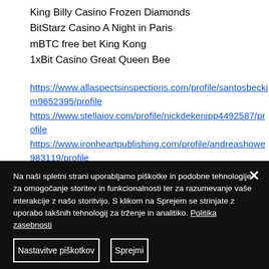King Billy Casino Frozen Diamonds
BitStarz Casino A Night in Paris
mBTC free bet King Kong
1xBit Casino Great Queen Bee
https://www.allaspectsinspections.com/profile/santosbeckim9652395/profile
https://www.stellaiov.com/profile/nickdekenipp4492587/profile
https://www.ironheartpublishing.com/profile/andreashowe983119/profile
https://www.teemaycoffee.com/profile/erickaf
Na naši spletni strani uporabljamo piškotke in podobne tehnologije za omogočanje storitev in funkcionalnosti ter za razumevanje vaše interakcije z našo storitvijo. S klikom na Sprejem se strinjate z uporabo takšnih tehnologij za trženje in analitiko. Politika zasebnosti
Nastavitve piškotkov
Sprejmi